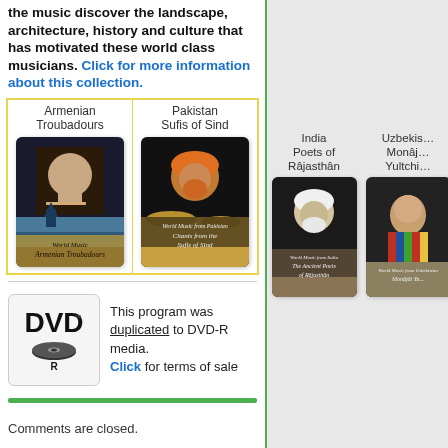the music discover the landscape, architecture, history and culture that has motivated these world class musicians. Click for more information about this collection.
[Figure (illustration): Album grid with Armenian Troubadours and Pakistan Sufis of Sind covers]
[Figure (logo): DVD-R logo]
This program was duplicated to DVD-R media. Click for terms of sale
Comments are closed.